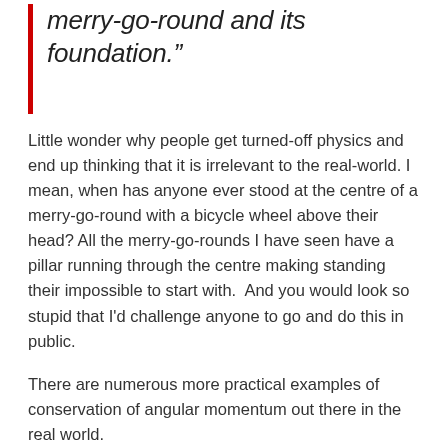merry-go-round and its foundation.”
Little wonder why people get turned-off physics and end up thinking that it is irrelevant to the real-world. I mean, when has anyone ever stood at the centre of a merry-go-round with a bicycle wheel above their head? All the merry-go-rounds I have seen have a pillar running through the centre making standing their impossible to start with.  And you would look so stupid that I'd challenge anyone to go and do this in public.
There are numerous more practical examples of conservation of angular momentum out there in the real world.
Later today, I get filmed as part of the Kudos Awards, on the ‘science communication’ work that I do. Part of what I’ll be saying is that us scientists should be making our respective subjects accessible (unlike the physics problem above).